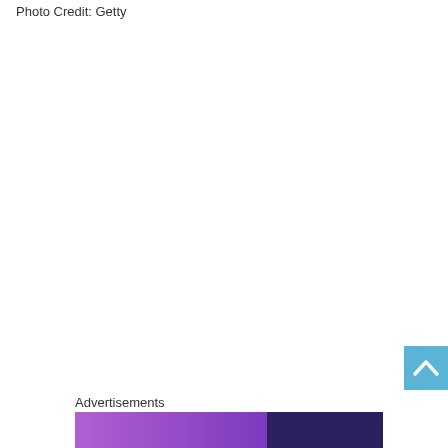Photo Credit: Getty
[Figure (other): Back to top button - a light blue square with a white upward-pointing chevron/arrow icon]
Advertisements
[Figure (other): Advertisement banner with purple gradient on left and dark purple on right]